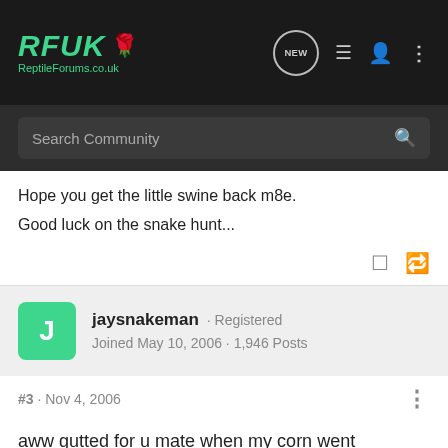RFUK Reptile Forums.co.uk — navigation bar with Search Community
Hope you get the little swine back m8e.
Good luck on the snake hunt...
jaysnakeman · Registered
Joined May 10, 2006 · 1,946 Posts
#3 · Nov 4, 2006
aww gutted for u mate when my corn went walkabouts i found him curled up in one of my trainers